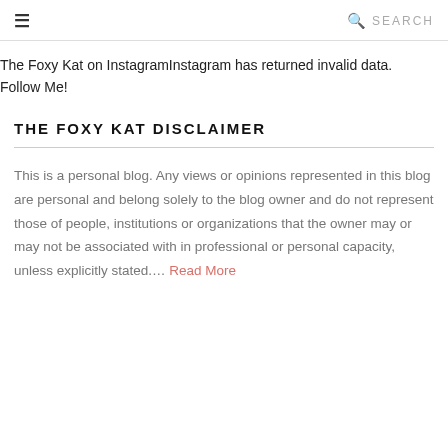≡  🔍  SEARCH
The Foxy Kat on InstagramInstagram has returned invalid data. Follow Me!
THE FOXY KAT DISCLAIMER
This is a personal blog. Any views or opinions represented in this blog are personal and belong solely to the blog owner and do not represent those of people, institutions or organizations that the owner may or may not be associated with in professional or personal capacity, unless explicitly stated.... Read More